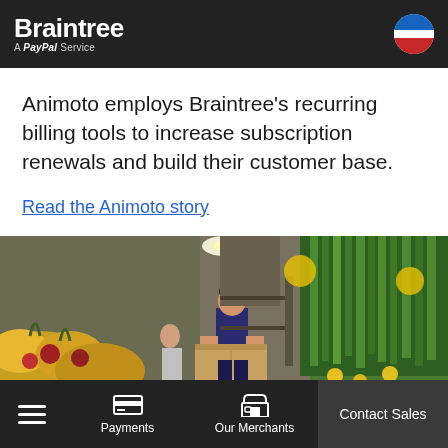Braintree — A PayPal Service
Animoto employs Braintree's recurring billing tools to increase subscription renewals and build their customer base.
Read the Animoto story
[Figure (photo): Photo of a grocery store employee carrying a cardboard box through a produce aisle with fruits and vegetables visible on both sides.]
Payments | Our Merchants | Contact Sales